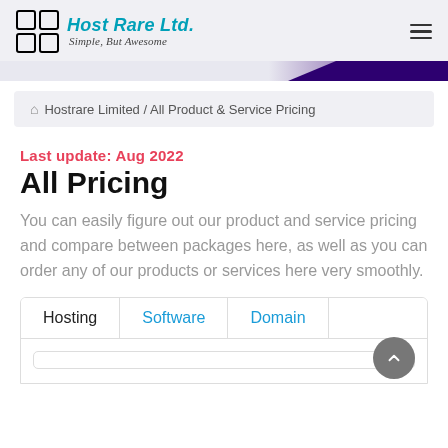[Figure (logo): Host Rare Ltd. logo with colored grid squares and italic teal text, tagline 'Simple, But Awesome']
Hostrare Limited / All Product & Service Pricing
Last update: Aug 2022
All Pricing
You can easily figure out our product and service pricing and compare between packages here, as well as you can order any of our products or services here very smoothly.
Hosting | Software | Domain